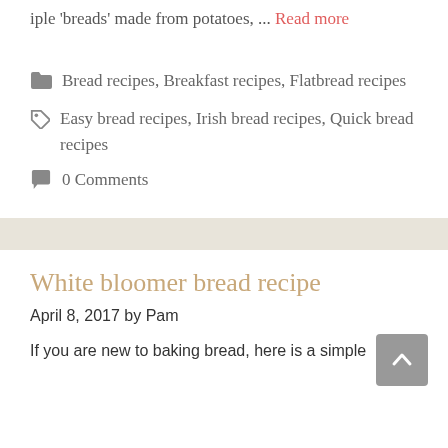iple 'breads' made from potatoes, … Read more
Bread recipes, Breakfast recipes, Flatbread recipes
Easy bread recipes, Irish bread recipes, Quick bread recipes
0 Comments
White bloomer bread recipe
April 8, 2017 by Pam
If you are new to baking bread, here is a simple